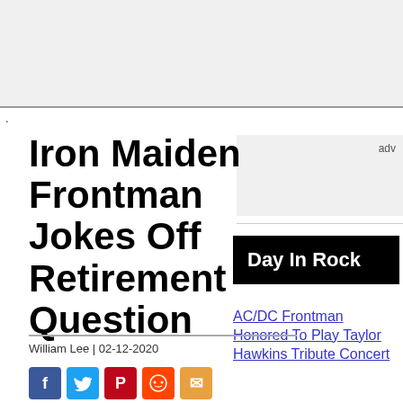.
[Figure (other): Advertisement placeholder box with 'adv' text label]
Iron Maiden Frontman Jokes Off Retirement Question
[Figure (other): Day In Rock sidebar box (black background, white text)]
William Lee | 02-12-2020
AC/DC Frontman Honored To Play Taylor Hawkins Tribute Concert
[Figure (other): Social share icons: Facebook, Twitter, Pinterest, Reddit, Email]